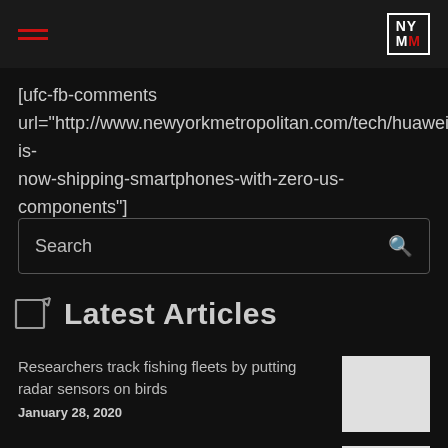NYMM (New York Metropolitan)
[ufc-fb-comments url="http://www.newyorkmetropolitan.com/tech/huawei-is-now-shipping-smartphones-with-zero-us-components"]
Search
Latest Articles
Researchers track fishing fleets by putting radar sensors on birds
January 28, 2020
Apple reports a blowout Q1 2020, but names coronavirus as a worry for the next quarter
January 28, 2020